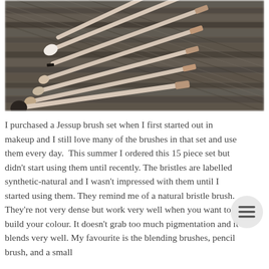[Figure (photo): Photo of multiple makeup brushes with light/cream handles and rose gold ferrules, spread out on a dark wooden plank surface. The brushes include various eye brushes with different bristle shapes.]
I purchased a Jessup brush set when I first started out in makeup and I still love many of the brushes in that set and use them every day.  This summer I ordered this 15 piece set but didn't start using them until recently. The bristles are labelled synthetic-natural and I wasn't impressed with them until I started using them. They remind me of a natural bristle brush. They're not very dense but work very well when you want to build your colour. It doesn't grab too much pigmentation and it blends very well. My favourite is the blending brushes, pencil brush, and a small